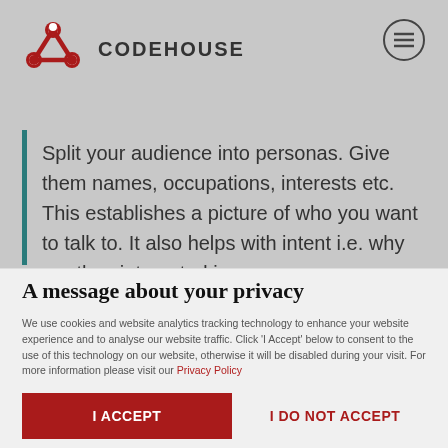[Figure (logo): Codehouse logo with red network/share icon and 'CODEHOUSE' text in dark grey]
[Figure (other): Hamburger menu icon (three horizontal lines in a circle)]
Split your audience into personas. Give them names, occupations, interests etc. This establishes a picture of who you want to talk to. It also helps with intent i.e. why are they interested in your
A message about your privacy
We use cookies and website analytics tracking technology to enhance your website experience and to analyse our website traffic. Click 'I Accept' below to consent to the use of this technology on our website, otherwise it will be disabled during your visit. For more information please visit our Privacy Policy
I ACCEPT
I DO NOT ACCEPT